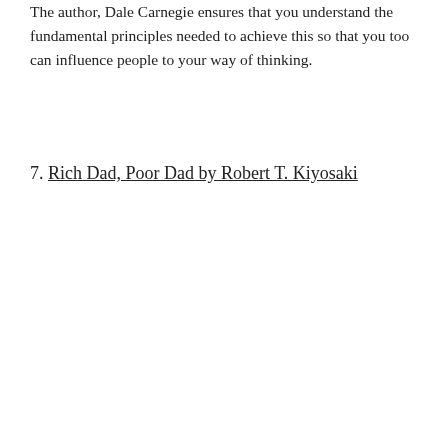The author, Dale Carnegie ensures that you understand the fundamental principles needed to achieve this so that you too can influence people to your way of thinking.
7. Rich Dad, Poor Dad by Robert T. Kiyosaki